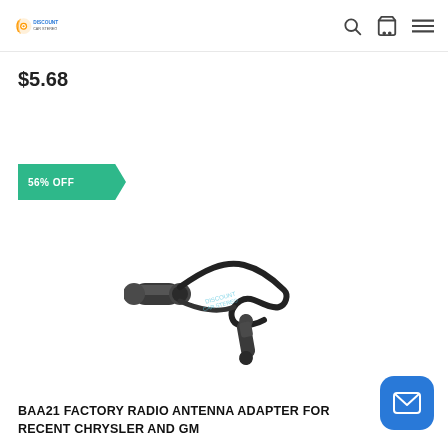Discount Car Stereo
$5.68
56% OFF
[Figure (photo): BAA21 factory radio antenna adapter product showing two cylindrical black connectors with a coiled cable]
BAA21 FACTORY RADIO ANTENNA ADAPTER FOR RECENT CHRYSLER AND GM